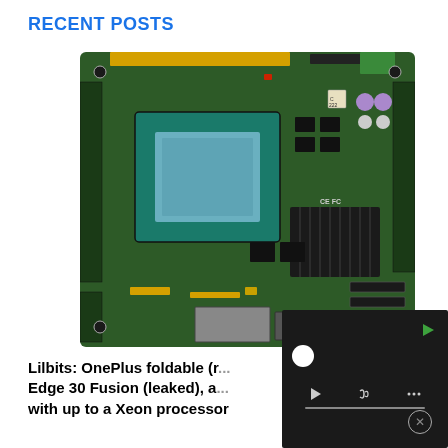RECENT POSTS
[Figure (photo): Close-up photograph of a green printed circuit board (single board computer/industrial motherboard) with a large CPU socket/processor, heatsink components, connectors, capacitors, and various ICs. The board shows CE and FC certification marks.]
Lilbits: OnePlus foldable (r... Edge 30 Fusion (leaked), a... with up to a Xeon processor